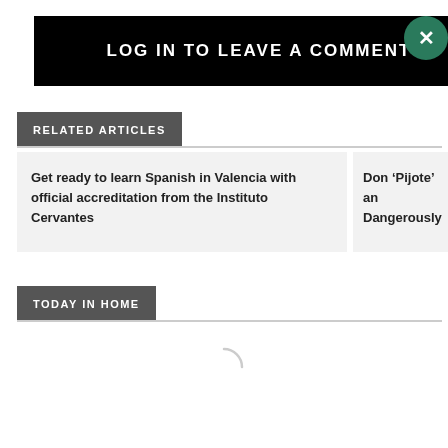LOG IN TO LEAVE A COMMENT
RELATED ARTICLES
Get ready to learn Spanish in Valencia with official accreditation from the Instituto Cervantes
Don ‘Pijote’ an Dangerously
TODAY IN HOME
[Figure (other): Loading spinner icon]